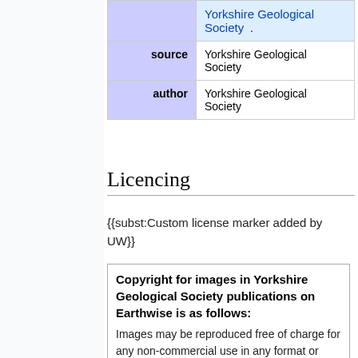|  | Yorkshire Geological Society . |
| source | Yorkshire Geological Society |
| author | Yorkshire Geological Society |
Licencing
{{subst:Custom license marker added by UW}}
Copyright for images in Yorkshire Geological Society publications on Earthwise is as follows:
Images may be reproduced free of charge for any non-commercial use in any format or medium provided it is reproduced accurately and not used in